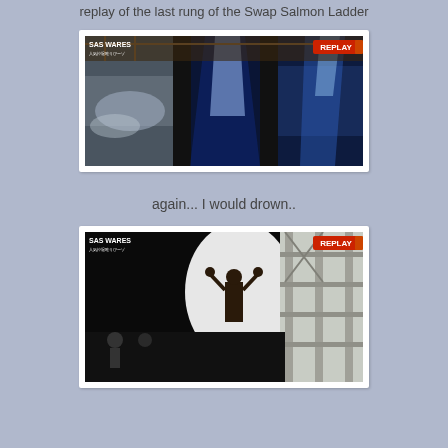replay of the last rung of the Swap Salmon Ladder
[Figure (screenshot): TV replay screenshot showing water/liquid scene from Swap Salmon Ladder obstacle, with REPLAY badge in upper right and Japanese text overlay in upper left]
again... I would drown..
[Figure (screenshot): TV replay screenshot showing a contestant on a dark obstacle course with scaffolding structure, REPLAY badge in upper right and Japanese text overlay in upper left]